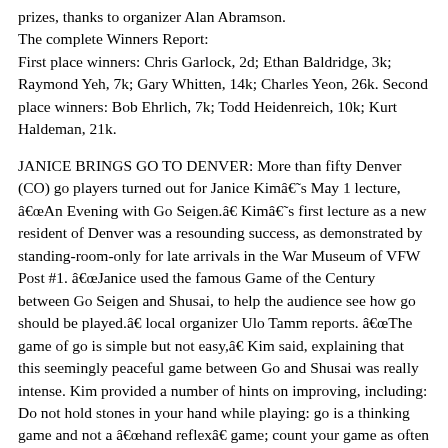prizes, thanks to organizer Alan Abramson. The complete Winners Report: First place winners: Chris Garlock, 2d; Ethan Baldridge, 3k; Raymond Yeh, 7k; Gary Whitten, 14k; Charles Yeon, 26k. Second place winners: Bob Ehrlich, 7k; Todd Heidenreich, 10k; Kurt Haldeman, 21k.
JANICE BRINGS GO TO DENVER: More than fifty Denver (CO) go players turned out for Janice Kimâs May 1 lecture, “An Evening with Go Seigen.” Kimâs first lecture as a new resident of Denver was a resounding success, as demonstrated by standing-room-only for late arrivals in the War Museum of VFW Post #1. “Janice used the famous Game of the Century between Go Seigen and Shusai, to help the audience see how go should be played.” local organizer Ulo Tamm reports. “The game of go is simple but not easy,” Kim said, explaining that this seemingly peaceful game between Go and Shusai was really intense. Kim provided a number of hints on improving, including: Do not hold stones in your hand while playing: go is a thinking game and not a “hand reflex” game; count your game as often as possible: it should not take longer than a minute; practice solving simple life and death problems by sight; go is “a game of chicken”: donât follow your opponent meekly; the capture of stones is the ultimate gote, so be prudent when offered. For the rest of Kimâs insights, Tamm recommends attending her next lecture, adding “The performance already made the “Kim, a 5 Dan”